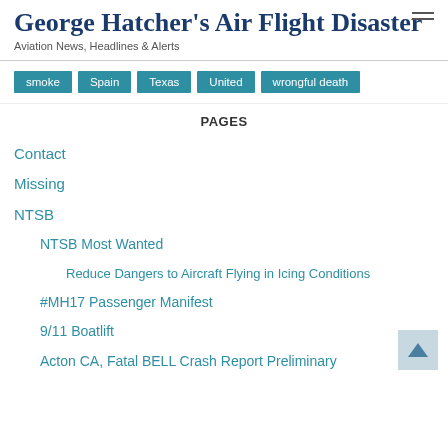George Hatcher's Air Flight Disaster
Aviation News, Headlines & Alerts
smoke
Spain
Texas
United
wrongful death
PAGES
Contact
Missing
NTSB
NTSB Most Wanted
Reduce Dangers to Aircraft Flying in Icing Conditions
#MH17 Passenger Manifest
9/11 Boatlift
Acton CA, Fatal BELL Crash Report Preliminary